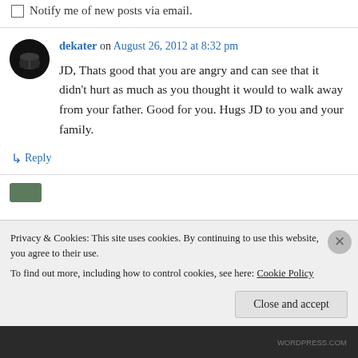Notify me of new posts via email.
dekater on August 26, 2012 at 8:32 pm
JD, Thats good that you are angry and can see that it didn’t hurt as much as you thought it would to walk away from your father. Good for you. Hugs JD to you and your family.
↳ Reply
Privacy & Cookies: This site uses cookies. By continuing to use this website, you agree to their use.
To find out more, including how to control cookies, see here: Cookie Policy
Close and accept